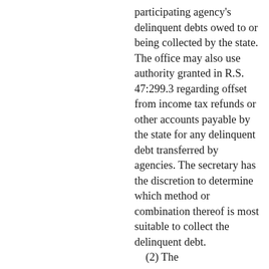participating agency's delinquent debts owed to or being collected by the state. The office may also use authority granted in R.S. 47:299.3 regarding offset from income tax refunds or other accounts payable by the state for any delinquent debt transferred by agencies. The secretary has the discretion to determine which method or combination thereof is most suitable to collect the delinquent debt. (2) The